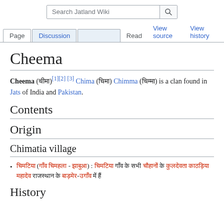Search Jatland Wiki
Page | Discussion | Read | View source | View history
Cheema
Cheema (चीमा)[1][2] [3] Chima (चिमा) Chimma (चिम्मा) is a clan found in Jats of India and Pakistan.
Contents
Origin
Chimatia village
चिमटिया (गाँव चिमहला - झाबुआ) : चिमटिया गाँव के सभी चौहानों के कुलदेवता काठड़िया महादेव राजस्थान के बाड़मेर-उगाँव में हैं
History